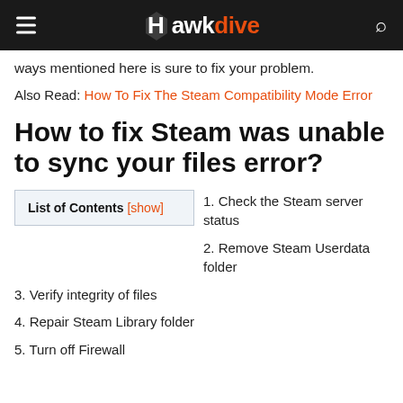Hawkdive
ways mentioned here is sure to fix your problem.
Also Read: How To Fix The Steam Compatibility Mode Error
How to fix Steam was unable to sync your files error?
1. Check the Steam server status
2. Remove Steam Userdata folder
3. Verify integrity of files
4. Repair Steam Library folder
5. Turn off Firewall